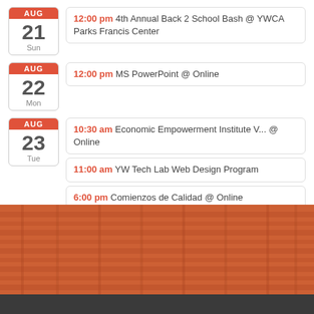AUG 21 Sun — 12:00 pm 4th Annual Back 2 School Bash @ YWCA Parks Francis Center
AUG 22 Mon — 12:00 pm MS PowerPoint @ Online
AUG 23 Tue — 10:30 am Economic Empowerment Institute V... @ Online
AUG 23 Tue — 11:00 am YW Tech Lab Web Design Program
AUG 23 Tue — 6:00 pm Comienzos de Calidad @ Online
[Figure (photo): Orange-tinted photo of what appears to be a building or shelving structure, with a dark footer bar at the bottom.]